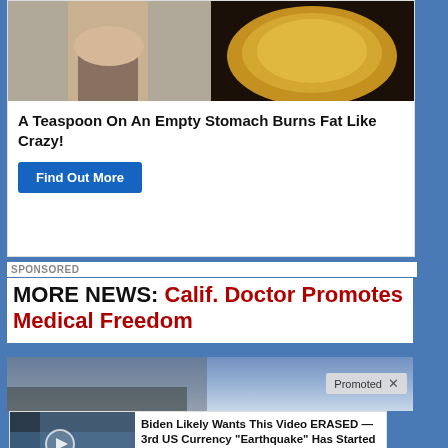[Figure (photo): Ad image: two side-by-side photos, left showing a woman's torso in workout clothes, right showing yellow powder in a spoon/bowl]
A Teaspoon On An Empty Stomach Burns Fat Like Crazy!
Find Out More
SPONSORED
MORE NEWS: Calif. Doctor Promotes Medical Freedom
[Figure (photo): Promoted content: cloudy sky background with 'Promoted X' badge]
[Figure (screenshot): Promoted item: man on TV set with play button overlay]
Biden Likely Wants This Video ERASED — 3rd US Currency "Earthquake" Has Started
[Figure (photo): Promoted item: woman in black lingerie, before/after style]
These 2 Vegetables Kill Your Belly And Arm Fat Overnight